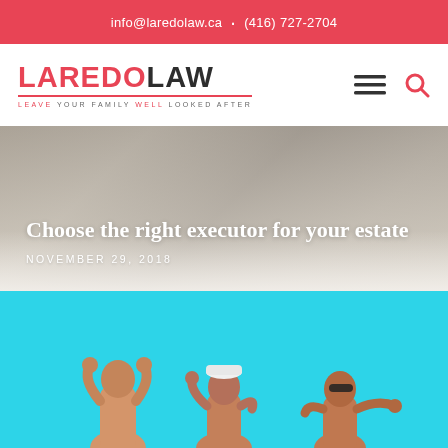info@laredolaw.ca  ·  (416) 727-2704
[Figure (logo): Laredo Law logo with tagline: Leave Your Family Well Looked After]
Choose the right executor for your estate
NOVEMBER 29, 2018
[Figure (photo): Three young men standing against a bright cyan/turquoise sky background, viewed from behind/side]